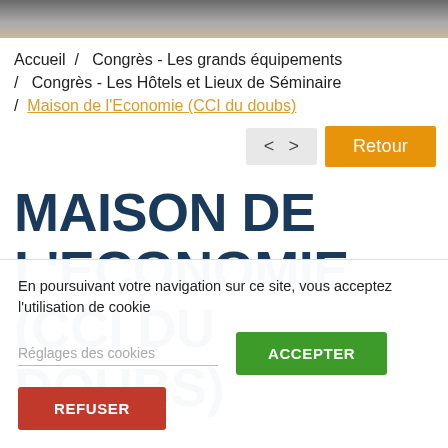[Figure (photo): Top strip of a photograph, partially visible, showing dark background with some objects.]
Accueil / Congrès - Les grands équipements / Congrès - Les Hôtels et Lieux de Séminaire / Maison de l'Economie (CCI du doubs)
< > Retour
MAISON DE L'ECONOMIE (CCI DU DOUBS)
En poursuivant votre navigation sur ce site, vous acceptez l'utilisation de cookie
Réglages des cookies   ACCEPTER   REFUSER